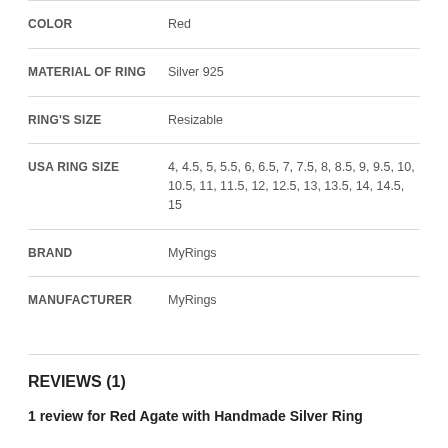| Attribute | Value |
| --- | --- |
| COLOR | Red |
| MATERIAL OF RING | Silver 925 |
| RING'S SIZE | Resizable |
| USA RING SIZE | 4, 4.5, 5, 5.5, 6, 6.5, 7, 7.5, 8, 8.5, 9, 9.5, 10, 10.5, 11, 11.5, 12, 12.5, 13, 13.5, 14, 14.5, 15 |
| BRAND | MyRings |
| MANUFACTURER | MyRings |
REVIEWS (1)
1 review for Red Agate with Handmade Silver Ring